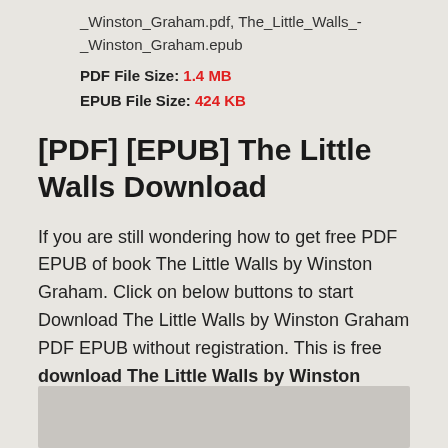_Winston_Graham.pdf, The_Little_Walls_-_Winston_Graham.epub
PDF File Size: 1.4 MB
EPUB File Size: 424 KB
[PDF] [EPUB] The Little Walls Download
If you are still wondering how to get free PDF EPUB of book The Little Walls by Winston Graham. Click on below buttons to start Download The Little Walls by Winston Graham PDF EPUB without registration. This is free download The Little Walls by Winston Graham complete book soft copy.
[Figure (other): Gray box at bottom of page, likely a button or image placeholder]